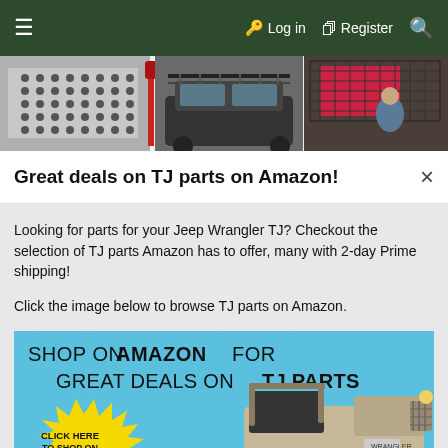≡   Login   Register 🔍
[Figure (photo): Product image strip showing Jeep TJ parts including hardware kit, roof rack/cargo carrier, and grid-style roof rack on Jeep]
Great deals on TJ parts on Amazon!
Looking for parts for your Jeep Wrangler TJ? Checkout the selection of TJ parts Amazon has to offer, many with 2-day Prime shipping!
Click the image below to browse TJ parts on Amazon.
[Figure (illustration): Amazon promotional banner: SHOP ON AMAZON FOR GREAT DEALS ON TJ PARTS with yellow starburst CLICK HERE TO SHOP ON AMAZON and illustrated Jeep Wrangler TJ on blue background]